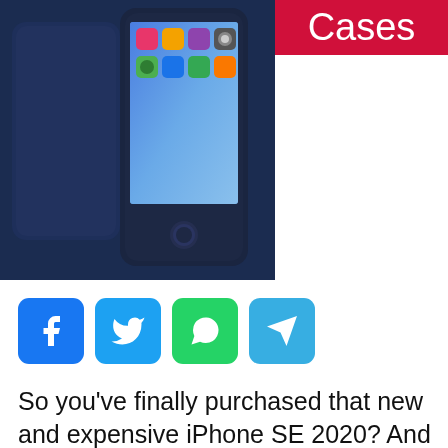[Figure (photo): Product photo of iPhone SE 2020 with a dark navy silicone case shown from back and front, against dark background]
Cases
[Figure (infographic): Social media share buttons: Facebook (blue), Twitter (light blue), WhatsApp (green), Telegram (blue)]
So you've finally purchased that new and expensive iPhone SE 2020? And are you now bothered about accidentally dropping it? Then this article will clear your worries right away.
This article is made solely for the purpose of providing you the best possible iPhone SE